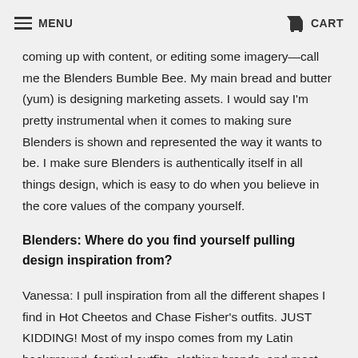MENU   CART
coming up with content, or editing some imagery—call me the Blenders Bumble Bee. My main bread and butter (yum) is designing marketing assets. I would say I'm pretty instrumental when it comes to making sure Blenders is shown and represented the way it wants to be. I make sure Blenders is authentically itself in all things design, which is easy to do when you believe in the core values of the company yourself.
Blenders: Where do you find yourself pulling design inspiration from?
Vanessa: I pull inspiration from all the different shapes I find in Hot Cheetos and Chase Fisher's outfits. JUST KIDDING! Most of my inspo comes from my Latin background, festival outfits, clothing brands, and most importantly my lava